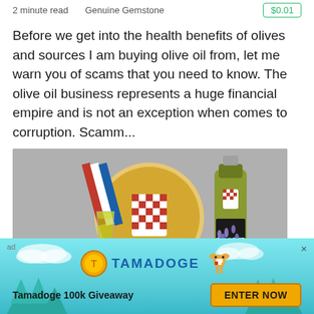2 minute read   Genuine Gemstone   $0.01
Before we get into the health benefits of olives and sources I am buying olive oil from, let me warn you of scams that you need to know. The olive oil business represents a huge financial empire and is not an exception when comes to corruption. Scamm...
[Figure (photo): Photo of Croatian olive oil products: a glass of green olive oil, a round tin with Croatian coat of arms labeled 'CROATIA', and a bottle labeled 'SELOOME' with Croatian checkered shield, with dried lavender in foreground]
[Figure (infographic): Advertisement banner for Tamadoge 100k Giveaway with teal sky background, pine trees, clouds, Tamadoge coin logo, pixel-art dog, and 'ENTER NOW' button]